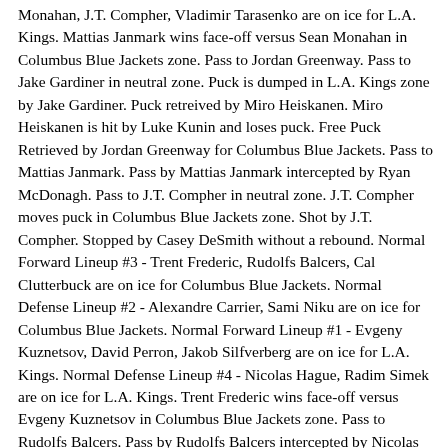Monahan, J.T. Compher, Vladimir Tarasenko are on ice for L.A. Kings. Mattias Janmark wins face-off versus Sean Monahan in Columbus Blue Jackets zone. Pass to Jordan Greenway. Pass to Jake Gardiner in neutral zone. Puck is dumped in L.A. Kings zone by Jake Gardiner. Puck retreived by Miro Heiskanen. Miro Heiskanen is hit by Luke Kunin and loses puck. Free Puck Retrieved by Jordan Greenway for Columbus Blue Jackets. Pass to Mattias Janmark. Pass by Mattias Janmark intercepted by Ryan McDonagh. Pass to J.T. Compher in neutral zone. J.T. Compher moves puck in Columbus Blue Jackets zone. Shot by J.T. Compher. Stopped by Casey DeSmith without a rebound. Normal Forward Lineup #3 - Trent Frederic, Rudolfs Balcers, Cal Clutterbuck are on ice for Columbus Blue Jackets. Normal Defense Lineup #2 - Alexandre Carrier, Sami Niku are on ice for Columbus Blue Jackets. Normal Forward Lineup #1 - Evgeny Kuznetsov, David Perron, Jakob Silfverberg are on ice for L.A. Kings. Normal Defense Lineup #4 - Nicolas Hague, Radim Simek are on ice for L.A. Kings. Trent Frederic wins face-off versus Evgeny Kuznetsov in Columbus Blue Jackets zone. Pass to Rudolfs Balcers. Pass by Rudolfs Balcers intercepted by Nicolas Hague. Pass by Nicolas Hague intercepted by Sami Niku. Pass to Cal Clutterbuck. Pass to Rudolfs Balcers in neutral zone. Pass by Rudolfs Balcers intercepted by Radim Simek in L.A. Kings zone. Pass to Jakob Silfverberg. Jakob Silfverberg moves puck in neutral zone. Jakob Silfverberg moves puck in Columbus Blue Jackets zone.